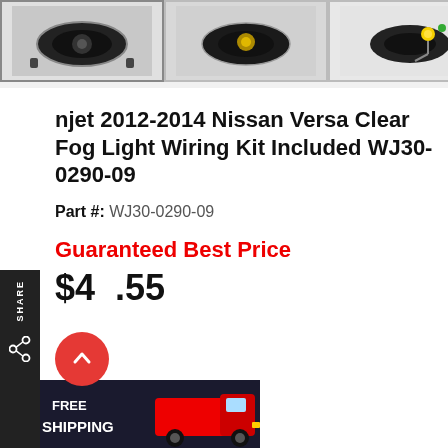[Figure (photo): Three product thumbnail images of fog lights for Nissan Versa in a horizontal strip at top]
njet 2012-2014 Nissan Versa Clear Fog Light Wiring Kit Included WJ30-0290-09
Part #: WJ30-0290-09
Guaranteed Best Price
$49.55
[Figure (infographic): Free shipping banner with truck icon and red scroll-to-top button]